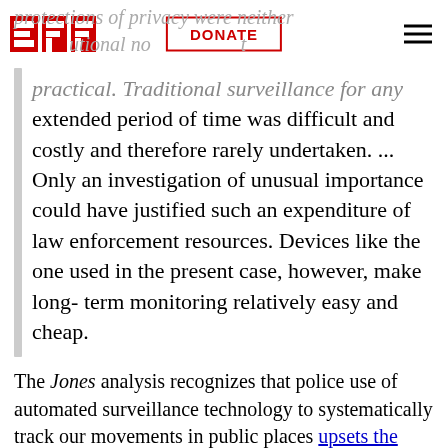EFF | DONATE
protections of privacy were neither [constitutional nor] practical. Traditional surveillance for any extended period of time was difficult and costly and therefore rarely undertaken. ... Only an investigation of unusual importance could have justified such an expenditure of law enforcement resources. Devices like the one used in the present case, however, make long-term monitoring relatively easy and cheap.
The Jones analysis recognizes that police use of automated surveillance technology to systematically track our movements in public places upsets the balance of power protected by the Constitution and violates the societal norms of